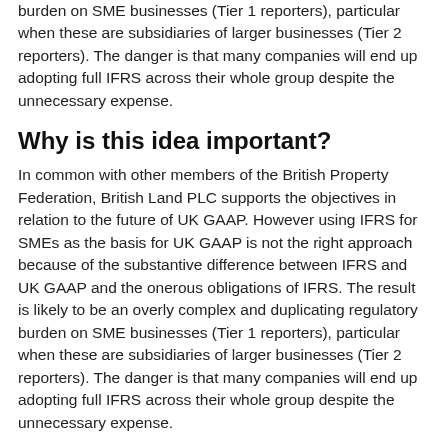burden on SME businesses (Tier 1 reporters), particular when these are subsidiaries of larger businesses (Tier 2 reporters). The danger is that many companies will end up adopting full IFRS across their whole group despite the unnecessary expense.
Why is this idea important?
In common with other members of the British Property Federation, British Land PLC supports the objectives in relation to the future of UK GAAP. However using IFRS for SMEs as the basis for UK GAAP is not the right approach because of the substantive difference between IFRS and UK GAAP and the onerous obligations of IFRS. The result is likely to be an overly complex and duplicating regulatory burden on SME businesses (Tier 1 reporters), particular when these are subsidiaries of larger businesses (Tier 2 reporters). The danger is that many companies will end up adopting full IFRS across their whole group despite the unnecessary expense.